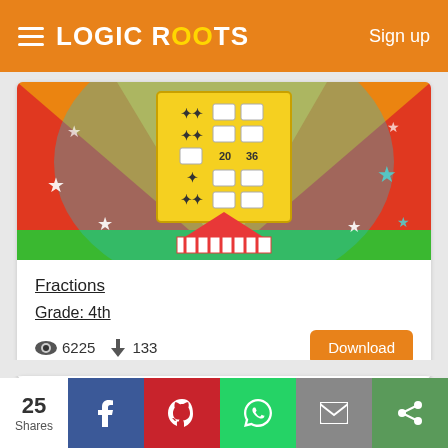LOGIC ROOTS   Sign up
[Figure (screenshot): Fractions math board game with circus theme showing a yellow board with fraction symbols and numbers 20, 36, a circus tent at the bottom, colorful stars and decorations on red and green background]
Fractions
Grade: 4th
👁 6225   ⬇ 133
Download
Caterpillar
★★★★½
[Figure (screenshot): Caterpillar math game screenshot with dark blue banner and colorful caterpillar illustration]
25 Shares  Facebook  Pinterest  WhatsApp  Mail  Share